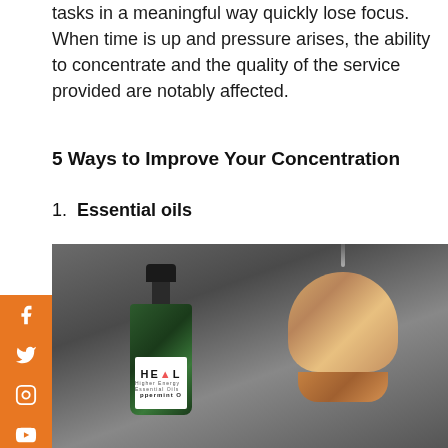tasks in a meaningful way quickly lose focus. When time is up and pressure arises, the ability to concentrate and the quality of the service provided are notably affected.
5 Ways to Improve Your Concentration
1. Essential oils
[Figure (photo): Photo of a green essential oil bottle labeled HEAL peppermint and a wooden aromatherapy diffuser with steam, on a gray background]